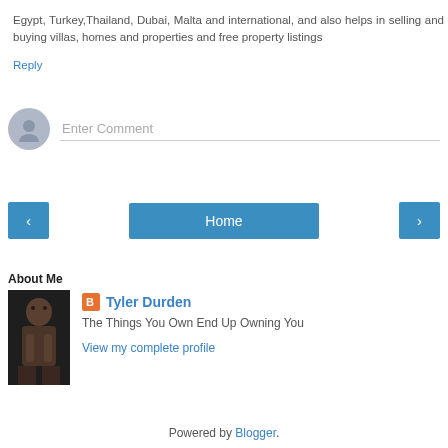Egypt, Turkey, Thailand, Dubai, Malta and international, and also helps in selling and buying villas, homes and properties and free property listings
Reply
Enter Comment
[Figure (other): Navigation buttons: left arrow, Home, right arrow]
View web version
About Me
[Figure (photo): Profile photo of Tyler Durden (shirtless man)]
Tyler Durden
The Things You Own End Up Owning You
View my complete profile
Powered by Blogger.